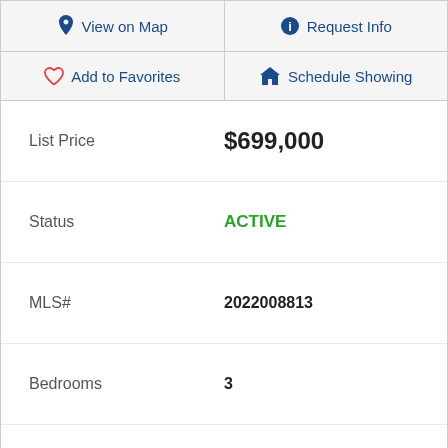View on Map
Request Info
Add to Favorites
Schedule Showing
| Field | Value |
| --- | --- |
| List Price | $699,000 |
| Status | ACTIVE |
| MLS# | 2022008813 |
| Bedrooms | 3 |
| Bathrooms | 2 |
| Full-baths | 2 |
| Living Area | 3,598 |
| Acres | 6.01 |